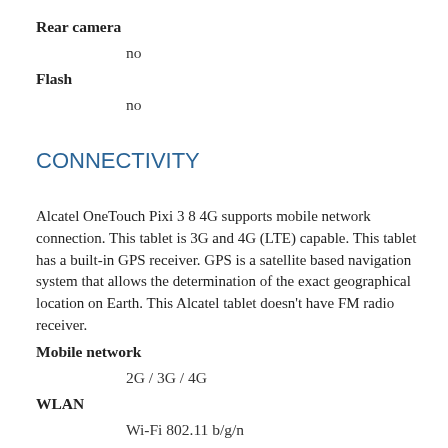Rear camera
no
Flash
no
CONNECTIVITY
Alcatel OneTouch Pixi 3 8 4G supports mobile network connection. This tablet is 3G and 4G (LTE) capable. This tablet has a built-in GPS receiver. GPS is a satellite based navigation system that allows the determination of the exact geographical location on Earth. This Alcatel tablet doesn't have FM radio receiver.
Mobile network
2G / 3G / 4G
WLAN
Wi-Fi 802.11 b/g/n
Bluetooth